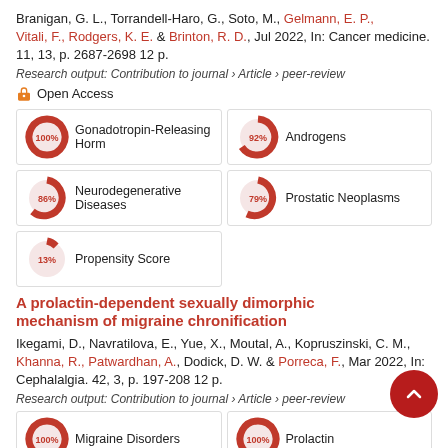Branigan, G. L., Torrandell-Haro, G., Soto, M., Gelmann, E. P., Vitali, F., Rodgers, K. E. & Brinton, R. D., Jul 2022, In: Cancer medicine. 11, 13, p. 2687-2698 12 p.
Research output: Contribution to journal › Article › peer-review
Open Access
[Figure (infographic): Keyword topic bars: Gonadotropin-Releasing Horm 100%, Androgens 92%, Neurodegenerative Diseases 86%, Prostatic Neoplasms 79%, Propensity Score 13%]
A prolactin-dependent sexually dimorphic mechanism of migraine chronification
Ikegami, D., Navratilova, E., Yue, X., Moutal, A., Kopruszinski, C. M., Khanna, R., Patwardhan, A., Dodick, D. W. & Porreca, F., Mar 2022, In: Cephalalgia. 42, 3, p. 197-208 12 p.
Research output: Contribution to journal › Article › peer-review
[Figure (infographic): Keyword topic bars: Migraine Disorders 100%, Prolactin 100%, Sumatriptan 86%, Trigeminal Ganglion 57%]